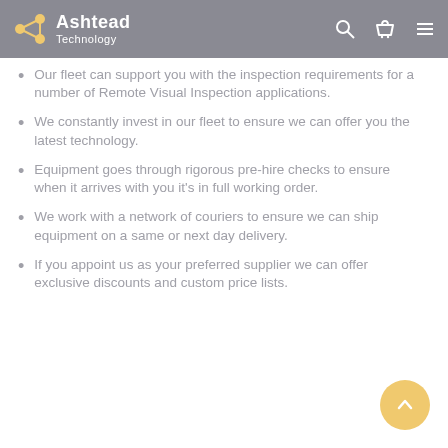Ashtead Technology
Our fleet can support you with the inspection requirements for a number of Remote Visual Inspection applications.
We constantly invest in our fleet to ensure we can offer you the latest technology.
Equipment goes through rigorous pre-hire checks to ensure when it arrives with you it's in full working order.
We work with a network of couriers to ensure we can ship equipment on a same or next day delivery.
If you appoint us as your preferred supplier we can offer exclusive discounts and custom price lists.